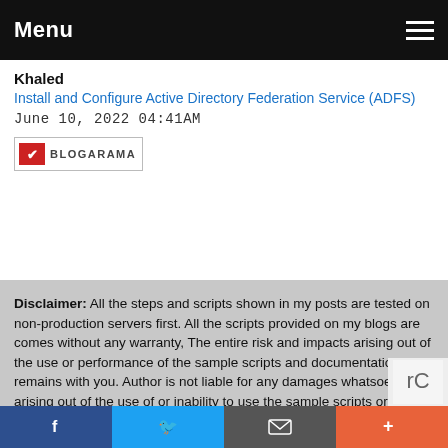Menu
Khaled
Install and Configure Active Directory Federation Service (ADFS)
June 10, 2022 04:41AM
[Figure (logo): Blogarama badge logo with red checkbox icon and BLOGARAMA text]
Disclaimer: All the steps and scripts shown in my posts are tested on non-production servers first. All the scripts provided on my blogs are comes without any warranty, The entire risk and impacts arising out of the use or performance of the sample scripts and documentation remains with you. Author is not liable for any damages whatsoever arising out of the use of or inability to use the sample scripts or documentation.
Facebook Twitter Email More